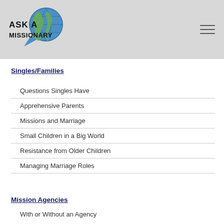[Figure (logo): Ask a Missionary logo with globe graphic and stylized text]
Singles/Families
Questions Singles Have
Apprehensive Parents
Missions and Marriage
Small Children in a Big World
Resistance from Older Children
Managing Marriage Roles
Mission Agencies
With or Without an Agency